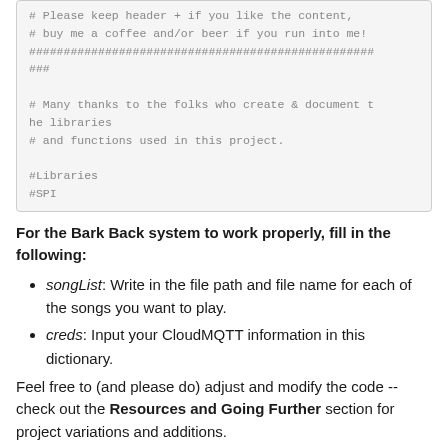# Please keep header + if you like the content,
# buy me a coffee and/or beer if you run into me!
##################################################
###

# Many thanks to the folks who create & document the libraries
# and functions used in this project.

#Libraries
#SPI
For the Bark Back system to work properly, fill in the following:
songList: Write in the file path and file name for each of the songs you want to play.
creds: Input your CloudMQTT information in this dictionary.
Feel free to (and please do) adjust and modify the code -- check out the Resources and Going Further section for project variations and additions.
Program Overview